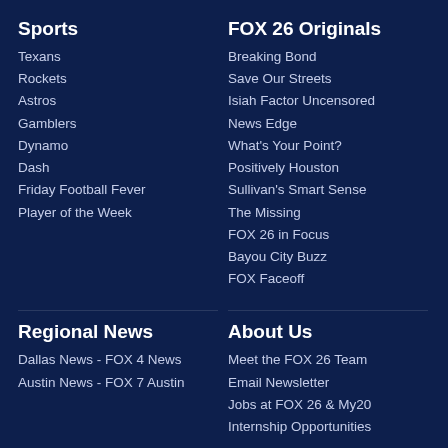Sports
Texans
Rockets
Astros
Gamblers
Dynamo
Dash
Friday Football Fever
Player of the Week
FOX 26 Originals
Breaking Bond
Save Our Streets
Isiah Factor Uncensored
News Edge
What's Your Point?
Positively Houston
Sullivan's Smart Sense
The Missing
FOX 26 in Focus
Bayou City Buzz
FOX Faceoff
Regional News
Dallas News - FOX 4 News
Austin News - FOX 7 Austin
About Us
Meet the FOX 26 Team
Email Newsletter
Jobs at FOX 26 & My20
Internship Opportunities